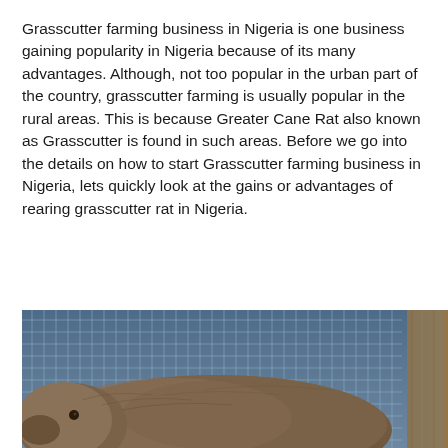Grasscutter farming business in Nigeria is one business gaining popularity in Nigeria because of its many advantages. Although, not too popular in the urban part of the country, grasscutter farming is usually popular in the rural areas. This is because Greater Cane Rat also known as Grasscutter is found in such areas. Before we go into the details on how to start Grasscutter farming business in Nigeria, lets quickly look at the gains or advantages of rearing grasscutter rat in Nigeria.
[Figure (photo): A large brown grasscutter (Greater Cane Rat) photographed from above, resting against a blue wire mesh cage background with a wooden post visible on the right side.]